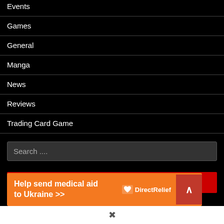Events
Games
General
Manga
News
Reviews
Trading Card Game
Search ....
YUGIOH! AMIME SERIES
Help send medical aid to Ukraine >>
[Figure (logo): Direct Relief logo with bird icon]
^